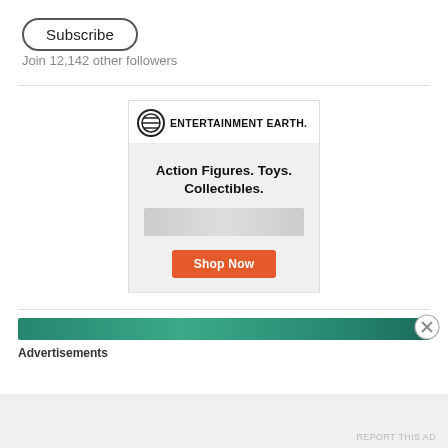Subscribe
Join 12,142 other followers
[Figure (infographic): Entertainment Earth advertisement banner with logo, text 'Action Figures. Toys. Collectibles.' and orange 'Shop Now' button]
[Figure (infographic): Second advertisement strip showing teal/green banner at bottom of page with close button and 'Advertisements' label]